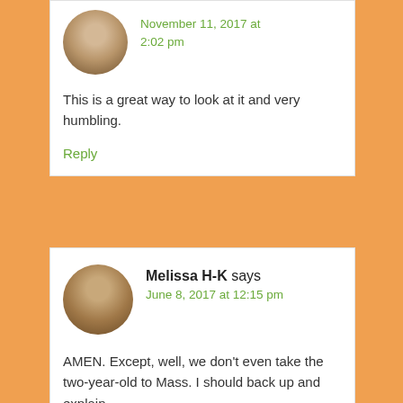November 11, 2017 at 2:02 pm
This is a great way to look at it and very humbling.
Reply
Melissa H-K says
June 8, 2017 at 12:15 pm
AMEN. Except, well, we don't even take the two-year-old to Mass. I should back up and explain.